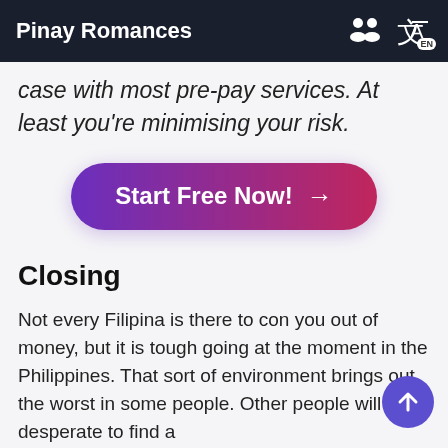Pinay Romances
case with most pre-pay services. At least you're minimising your risk.
[Figure (other): Call-to-action button with gradient background (purple to pink) reading 'Start Free Now!' with an arrow]
Closing
Not every Filipina is there to con you out of money, but it is tough going at the moment in the Philippines. That sort of environment brings out the worst in some people. Other people will be desperate to find a